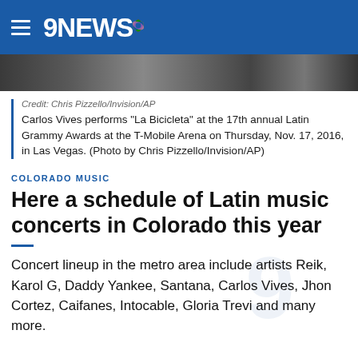9NEWS
[Figure (photo): Dark concert photo strip showing crowd/performers]
Credit: Chris Pizzello/Invision/AP
Carlos Vives performs "La Bicicleta" at the 17th annual Latin Grammy Awards at the T-Mobile Arena on Thursday, Nov. 17, 2016, in Las Vegas. (Photo by Chris Pizzello/Invision/AP)
COLORADO MUSIC
Here a schedule of Latin music concerts in Colorado this year
Concert lineup in the metro area include artists Reik, Karol G, Daddy Yankee, Santana, Carlos Vives, Jhon Cortez, Caifanes, Intocable, Gloria Trevi and many more.